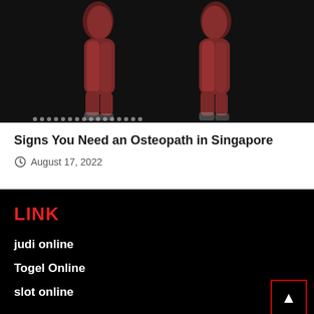[Figure (photo): Medical illustration showing human leg muscles anatomy viewed from front and back, on dark background]
Signs You Need an Osteopath in Singapore
August 17, 2022
LINK
judi online
Togel Online
slot online